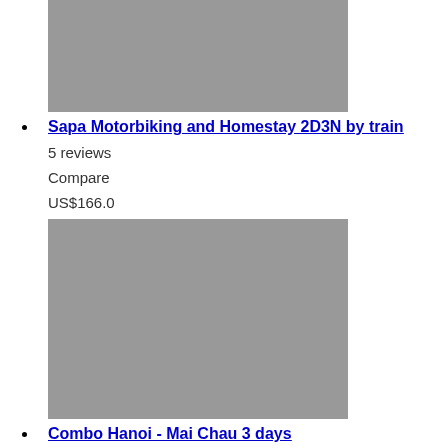[Figure (photo): Gray placeholder image for Sapa Motorbiking and Homestay tour]
Sapa Motorbiking and Homestay 2D3N by train
5 reviews
Compare
US$166.0
[Figure (photo): Gray placeholder image for Combo Hanoi - Mai Chau 3 days tour]
Combo Hanoi - Mai Chau 3 days